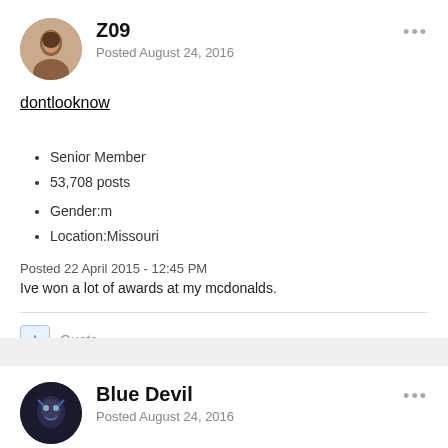[Figure (photo): Circular avatar of a woman with dark hair]
Z09
Posted August 24, 2016
dontlooknow
Senior Member
53,708 posts
Gender:m
Location:Missouri
Posted 22 April 2015 - 12:45 PM
Ive won a lot of awards at my mcdonalds.
+ Quote
[Figure (photo): Circular avatar of a creature/character in dark tones (Blue Devil)]
Blue Devil
Posted August 24, 2016